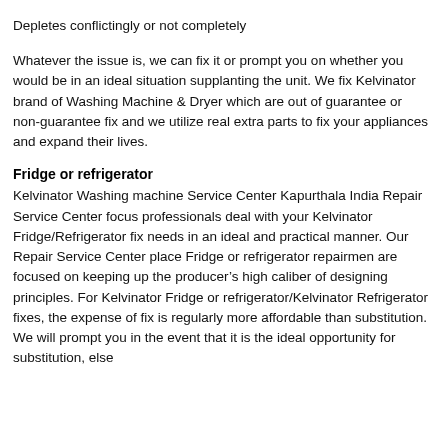Washing Machine & Dryer produces consuming smell
Depletes conflictingly or not completely
Whatever the issue is, we can fix it or prompt you on whether you would be in an ideal situation supplanting the unit. We fix Kelvinator brand of Washing Machine & Dryer which are out of guarantee or non-guarantee fix and we utilize real extra parts to fix your appliances and expand their lives.
Fridge or refrigerator
Kelvinator Washing machine Service Center Kapurthala India Repair Service Center focus professionals deal with your Kelvinator Fridge/Refrigerator fix needs in an ideal and practical manner. Our Repair Service Center place Fridge or refrigerator repairmen are focused on keeping up the producer’s high caliber of designing principles. For Kelvinator Fridge or refrigerator/Kelvinator Refrigerator fixes, the expense of fix is regularly more affordable than substitution. We will prompt you in the event that it is the ideal opportunity for substitution, else